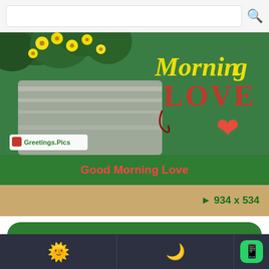[Figure (screenshot): Search bar at top with magnifying glass icon]
[Figure (photo): Good Morning Love greeting card image with yellow flowers, green leaves, wood texture background, and text 'Morning Love' with red heart. Greetings.Pics watermark bottom left.]
Good Morning Love
▶ 934 x 534
My love, you brighten up my day with your smile, it always takes my breath away.
[Figure (screenshot): Bottom navigation bar with sun emoji, crescent moon emoji, and WhatsApp icon]